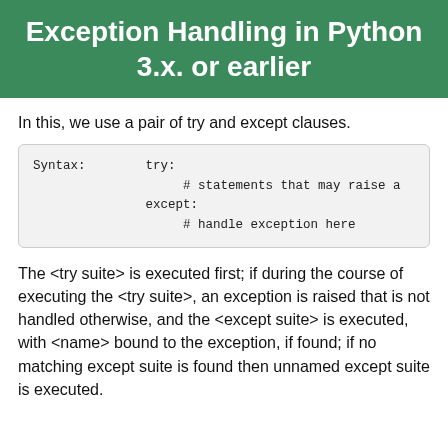Exception Handling in Python 3.x. or earlier
In this, we use a pair of try and except clauses.
The <try suite> is executed first; if during the course of executing the <try suite>, an exception is raised that is not handled otherwise, and the <except suite> is executed, with <name> bound to the exception, if found; if no matching except suite is found then unnamed except suite is executed.